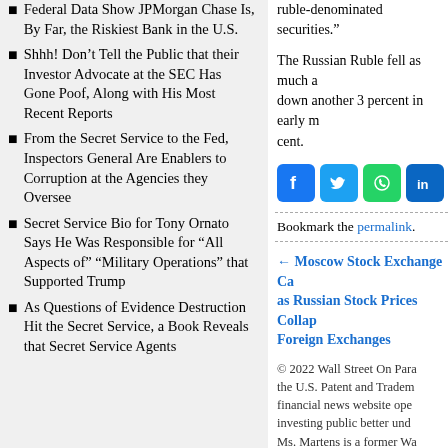Federal Data Show JPMorgan Chase Is, By Far, the Riskiest Bank in the U.S.
Shhh! Don't Tell the Public that their Investor Advocate at the SEC Has Gone Poof, Along with His Most Recent Reports
From the Secret Service to the Fed, Inspectors General Are Enablers to Corruption at the Agencies they Oversee
Secret Service Bio for Tony Ornato Says He Was Responsible for “All Aspects of” “Military Operations” that Supported Trump
As Questions of Evidence Destruction Hit the Secret Service, a Book Reveals that Secret Service Agents
ruble-denominated securities.”
The Russian Ruble fell as much a… down another 3 percent in early m… cent.
[Figure (infographic): Social share buttons: Facebook, Twitter, WhatsApp, LinkedIn, Email]
Bookmark the permalink.
← Moscow Stock Exchange Ca… as Russian Stock Prices Collap… Foreign Exchanges
© 2022 Wall Street On Para… the U.S. Patent and Tradem… financial news website ope… investing public better und… Ms. Martens is a former Wa… journalism. Mr. Martens’ ca… publishing management.